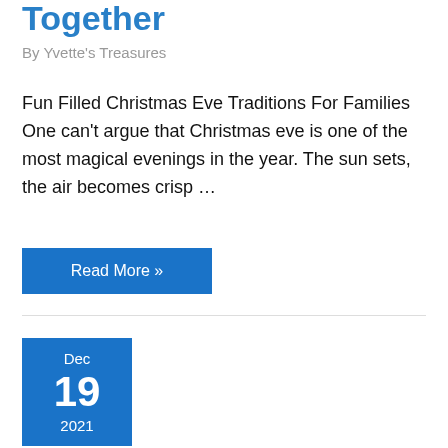Together
By Yvette's Treasures
Fun Filled Christmas Eve Traditions For Families One can't argue that Christmas eve is one of the most magical evenings in the year. The sun sets, the air becomes crisp …
Read More »
[Figure (other): Date box showing Dec 19 2021 in blue]
Dec 19 2021